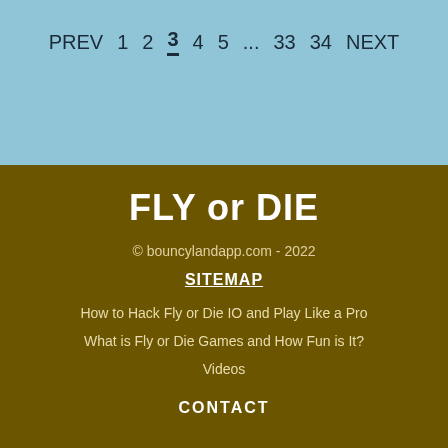PREV  1  2  3  4  5  ...  33  34  NEXT
FLY or DIE
© bouncylandapp.com - 2022
SITEMAP
How to Hack Fly or Die IO and Play Like a Pro
What is Fly or Die Games and How Fun is It?
Videos
CONTACT